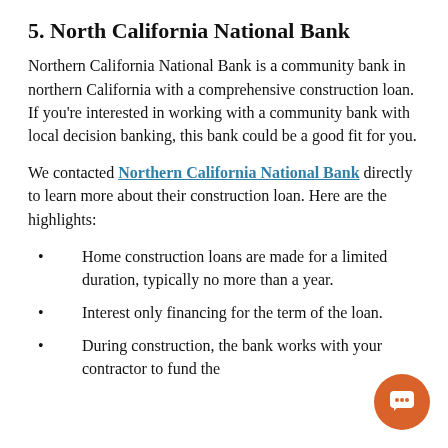5. North California National Bank
Northern California National Bank is a community bank in northern California with a comprehensive construction loan. If you're interested in working with a community bank with local decision banking, this bank could be a good fit for you.
We contacted Northern California National Bank directly to learn more about their construction loan. Here are the highlights:
Home construction loans are made for a limited duration, typically no more than a year.
Interest only financing for the term of the loan.
During construction, the bank works with your contractor to fund the